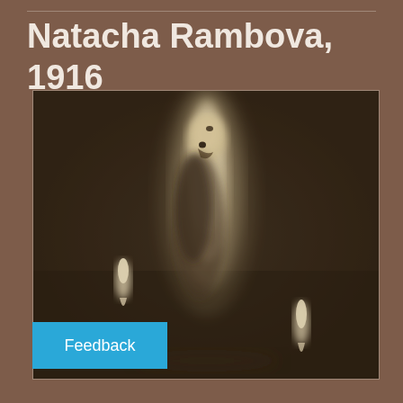Natacha Rambova, 1916
[Figure (photo): A sepia-toned vintage photograph showing ghostly or ethereal figures. The central figure appears tall and luminous with two smaller teardrop-shaped light forms on either side. The image has a dark, atmospheric quality typical of early 20th century pictorialist photography.]
Feedback